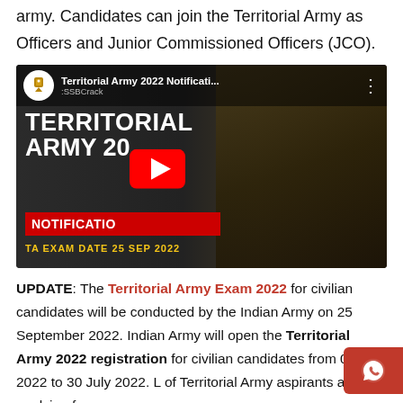army. Candidates can join the Territorial Army as Officers and Junior Commissioned Officers (JCO).
[Figure (screenshot): YouTube video thumbnail for 'Territorial Army 2022 Notificati...' by SSBCrack. Shows large white bold text 'TERRITORIAL ARMY 20' and a red banner 'NOTIFICATION' with yellow text 'TA EXAM DATE 25 SEP 2022'. A red YouTube play button is centered. Right side shows a soldier in army uniform.]
UPDATE: The Territorial Army Exam 2022 for civilian candidates will be conducted by the Indian Army on 25 September 2022. Indian Army will open the Territorial Army 2022 registration for civilian candidates from 01 July 2022 to 30 July 2022. L of Territorial Army aspirants are applying for